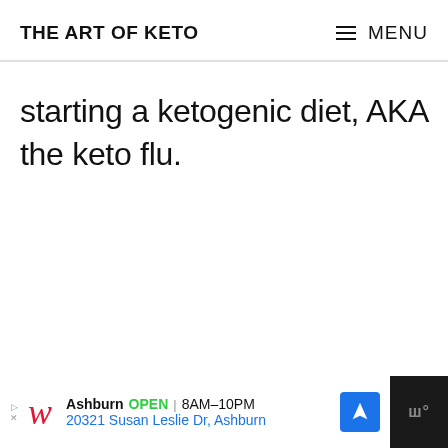THE ART OF KETO  ≡ MENU
starting a ketogenic diet, AKA the keto flu.
[Figure (screenshot): Advertisement banner for Walgreens showing store location in Ashburn, open 8AM–10PM, address 20321 Susan Leslie Dr, Ashburn with navigation icon]